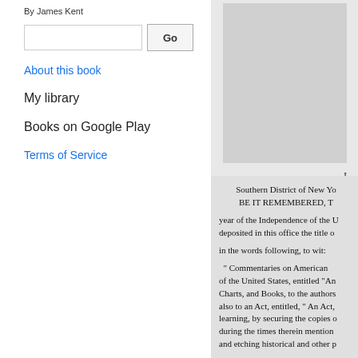By James Kent
Go
About this book
My library
Books on Google Play
Terms of Service
L
Southern District of New Yo... BE IT REMEMBERED, T... year of the Independence of the U... deposited in this office the title o... in the words following, to wit: " Commentaries on American... of the United States, entitled "An... Charts, and Books, to the authors... also to an Act, entitled, " An Act,... learning, by securing the copies o... during the times therein mention... and etching historical and other p...